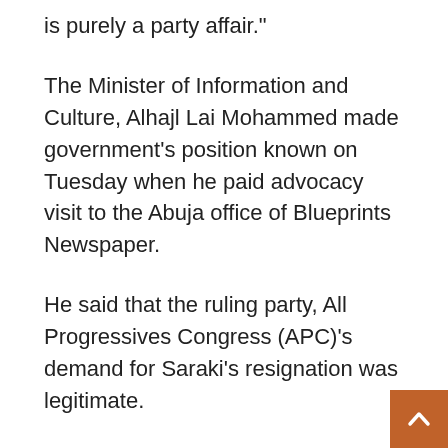is purely a party affair."
The Minister of Information and Culture, Alhajl Lai Mohammed made government’s position known on Tuesday when he paid advocacy visit to the Abuja office of Blueprints Newspaper.
He said that the ruling party, All Progressives Congress (APC)’s demand for Saraki’s resignation was legitimate.
The minister, however, said that the Federal Government was surprised by the failure of the National Assembly to reconvene on Tuesday for consideration of INEC supplementary budget fo…